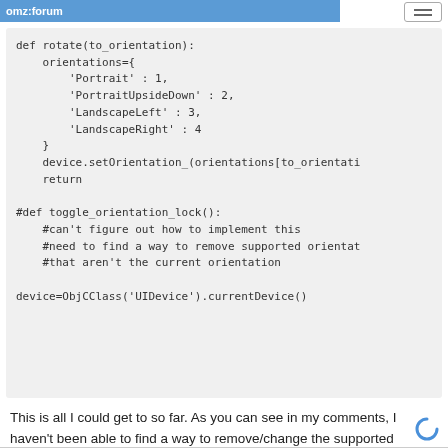omz:forum
def rotate(to_orientation):
    orientations={
        'Portrait' : 1,
        'PortraitUpsideDown' : 2,
        'LandscapeLeft' : 3,
        'LandscapeRight' : 4
    }
    device.setOrientation_(orientations[to_orientati
    return

#def toggle_orientation_lock():
    #can't figure out how to implement this
    #need to find a way to remove supported orientat
    #that aren't the current orientation

device=ObjCClass('UIDevice').currentDevice()
This is all I could get to so far. As you can see in my comments, I haven't been able to find a way to remove/change the supported orientations in a UIViewController object.